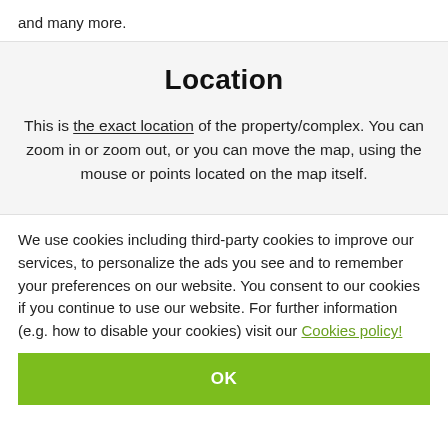and many more.
Location
This is the exact location of the property/complex. You can zoom in or zoom out, or you can move the map, using the mouse or points located on the map itself.
We use cookies including third-party cookies to improve our services, to personalize the ads you see and to remember your preferences on our website. You consent to our cookies if you continue to use our website. For further information (e.g. how to disable your cookies) visit our Cookies policy!
OK